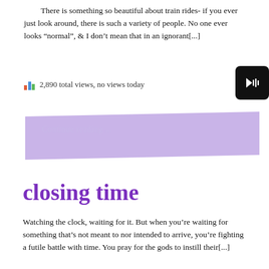There is something so beautiful about train rides- if you ever just look around, there is such a variety of people. No one ever looks “normal”, & I don’t mean that in an ignorant[...]
2,890 total views, no views today
[Figure (screenshot): Continue reading ... button rendered as a purple/lavender parallelogram-shaped banner]
closing time
Watching the clock, waiting for it. But when you’re waiting for something that’s not meant to nor intended to arrive, you’re fighting a futile battle with time. You pray for the gods to instill their[...]